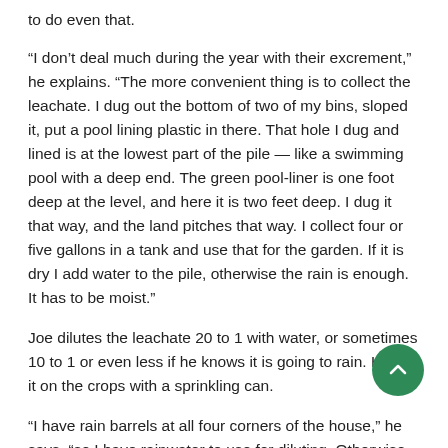to do even that.
“I don’t deal much during the year with their excrement,” he explains. “The more convenient thing is to collect the leachate. I dug out the bottom of two of my bins, sloped it, put a pool lining plastic in there. That hole I dug and lined is at the lowest part of the pile — like a swimming pool with a deep end. The green pool-liner is one foot deep at the level, and here it is two feet deep. I dug it that way, and the land pitches that way. I collect four or five gallons in a tank and use that for the garden. If it is dry I add water to the pile, otherwise the rain is enough. It has to be moist.”
Joe dilutes the leachate 20 to 1 with water, or sometimes 10 to 1 or even less if he knows it is going to rain. He put it on the crops with a sprinkling can.
“I have rain barrels at all four corners of the house,” he says, “so I have rainwater to use for diluting. Otherwise I’d